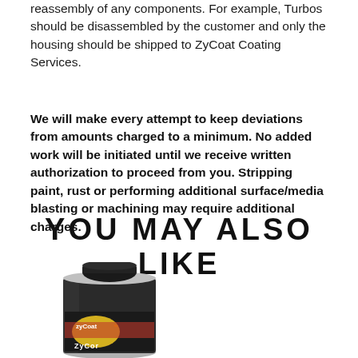reassembly of any components. For example, Turbos should be disassembled by the customer and only the housing should be shipped to ZyCoat Coating Services.
We will make every attempt to keep deviations from amounts charged to a minimum. No added work will be initiated until we receive written authorization to proceed from you. Stripping paint, rust or performing additional surface/media blasting or machining may require additional charges.
YOU MAY ALSO LIKE
[Figure (photo): A spray can product with ZyCoat branding, dark cap on top, label visible with red and yellow colors showing ZyCoat logo and ZyCor text at bottom]